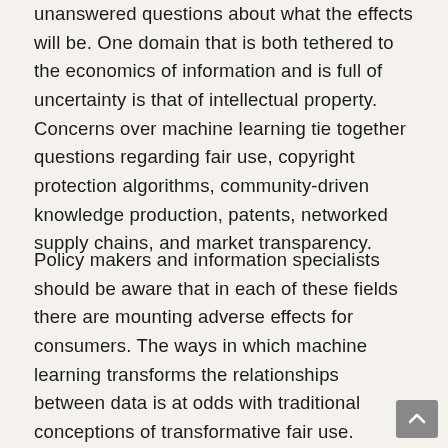unanswered questions about what the effects will be. One domain that is both tethered to the economics of information and is full of uncertainty is that of intellectual property. Concerns over machine learning tie together questions regarding fair use, copyright protection algorithms, community-driven knowledge production, patents, networked supply chains, and market transparency.
Policy makers and information specialists should be aware that in each of these fields there are mounting adverse effects for consumers. The ways in which machine learning transforms the relationships between data is at odds with traditional conceptions of transformative fair use. Machine learning helps copyright holders infringe upon the legitimate fair use of intellectual property because existing copyright law penalizes